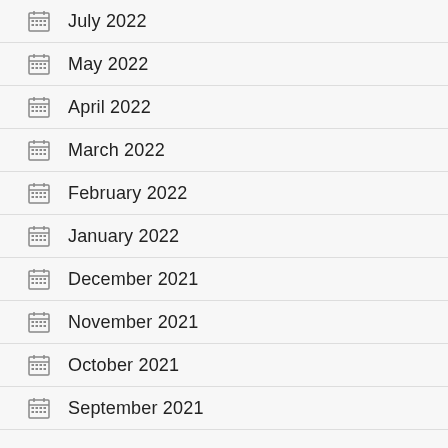July 2022
May 2022
April 2022
March 2022
February 2022
January 2022
December 2021
November 2021
October 2021
September 2021